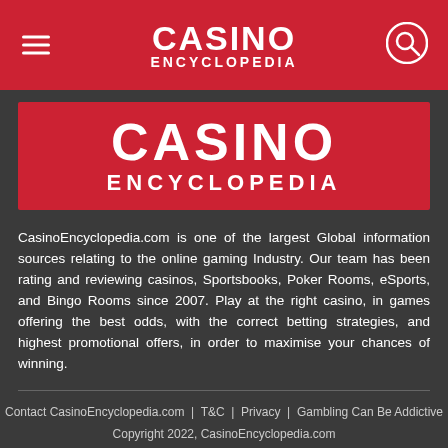CASINO ENCYCLOPEDIA
[Figure (logo): Casino Encyclopedia logo — red background with large white bold text CASINO on top line and ENCYCLOPEDIA on second line]
CasinoEncyclopedia.com is one of the largest Global information sources relating to the online gaming Industry. Our team has been rating and reviewing casinos, Sportsbooks, Poker Rooms, eSports, and Bingo Rooms since 2007. Play at the right casino, in games offering the best odds, with the correct betting strategies, and highest promotional offers, in order to maximise your chances of winning.
Contact CasinoEncyclopedia.com | T&C | Privacy | Gambling Can Be Addictive
Copyright 2022, CasinoEncyclopedia.com